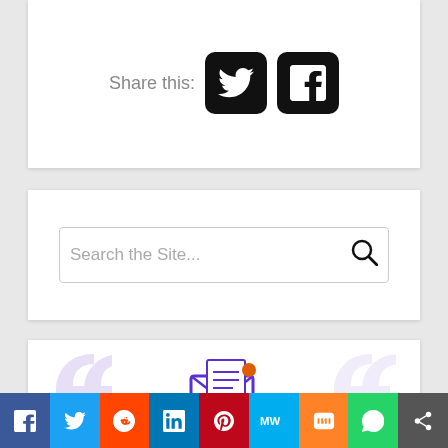[Figure (screenshot): Share this section with Twitter and Facebook icon buttons]
[Figure (screenshot): Search the Site input box with magnifying glass icon]
[Figure (screenshot): Newsletter / email subscription icon with decorative quote marks]
[Figure (infographic): Social sharing bar with icons: Facebook, Twitter, Reddit, LinkedIn, Pinterest, MixedNews, Mix, WhatsApp, Share]